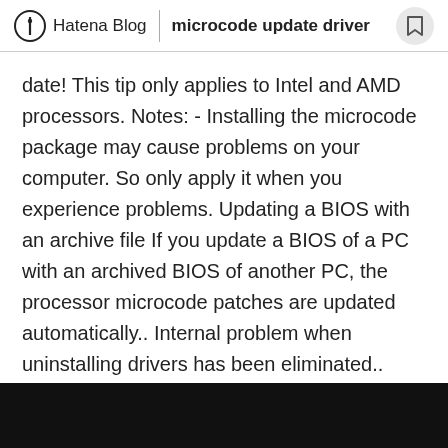Hatena Blog | microcode update driver
date! This tip only applies to Intel and AMD processors. Notes: - Installing the microcode package may cause problems on your computer. So only apply it when you experience problems. Updating a BIOS with an archive file If you update a BIOS of a PC with an archived BIOS of another PC, the processor microcode patches are updated automatically.. Internal problem when uninstalling drivers has been eliminated.. Microcode Update now supports multiple matching patches within one update file. Microcode Update Device last downloaded: 12.10.2017 - 2017 version. 36 Users. Download Rating: 91%. Download driver: Microcode